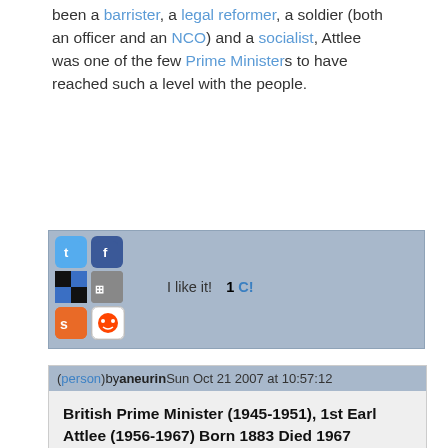been a barrister, a legal reformer, a soldier (both an officer and an NCO) and a socialist, Attlee was one of the few Prime Ministers to have reached such a level with the people.
[Figure (infographic): Social sharing bar with Twitter, Facebook, Delicious, Digg, StumbleUpon, Reddit icons, 'I like it!' text and '1 C!' count]
(person) by aneurin Sun Oct 21 2007 at 10:57:12
British Prime Minister (1945-1951), 1st Earl Attlee (1956-1967) Born 1883 Died 1967